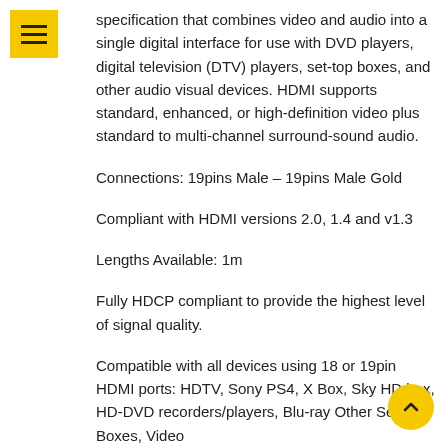specification that combines video and audio into a single digital interface for use with DVD players, digital television (DTV) players, set-top boxes, and other audio visual devices. HDMI supports standard, enhanced, or high-definition video plus standard to multi-channel surround-sound audio.
Connections: 19pins Male – 19pins Male Gold
Compliant with HDMI versions 2.0, 1.4 and v1.3
Lengths Available: 1m
Fully HDCP compliant to provide the highest level of signal quality.
Compatible with all devices using 18 or 19pin HDMI ports: HDTV, Sony PS4, X Box, Sky HD box, HD-DVD recorders/players, Blu-ray Other Set Top Boxes, Video